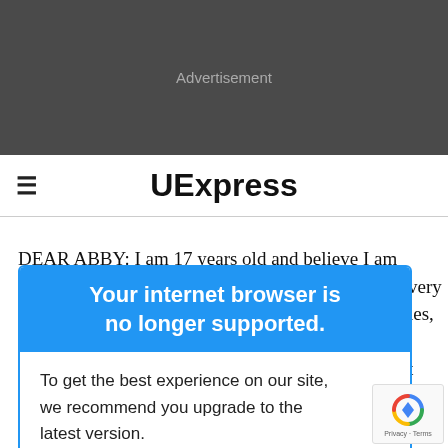[Figure (screenshot): Dark grey advertisement banner area with 'Advertisement' label in grey text]
UExpress
DEAR ABBY: I am 17 years old and believe I am [partially obscured] very [partially obscured] ies, and people [partially obscured] t I'm not good
[Figure (screenshot): Browser upgrade popup overlay with blue header reading 'Your internet browser is no longer supported.' and white body text reading 'To get the best experience on our site, we recommend you upgrade to the latest version.']
[Figure (screenshot): reCAPTCHA badge in bottom right corner showing spinning arrows logo and 'Privacy · Terms' text]